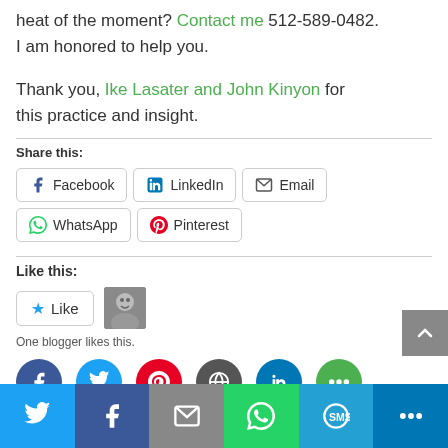heat of the moment? Contact me 512-589-0482. I am honored to help you.
Thank you, Ike Lasater and John Kinyon for this practice and insight.
Share this:
Facebook | LinkedIn | Email | WhatsApp | Pinterest
Like this:
Like — One blogger likes this.
[Figure (infographic): Social media sharing icons row: Facebook (blue), Twitter (light blue), Pinterest (red), Google (dark grey), LinkedIn (blue), More (green)]
[Figure (infographic): Bottom sharing bar with icons: Twitter (blue), Facebook (dark blue), Email (grey), WhatsApp (green), SMS (light blue), More (blue)]